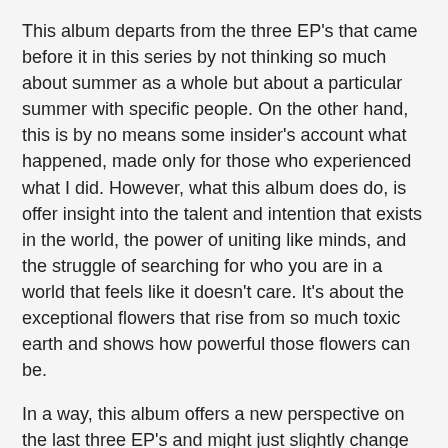This album departs from the three EP's that came before it in this series by not thinking so much about summer as a whole but about a particular summer with specific people. On the other hand, this is by no means some insider's account what happened, made only for those who experienced what I did. However, what this album does do, is offer insight into the talent and intention that exists in the world, the power of uniting like minds, and the struggle of searching for who you are in a world that feels like it doesn't care. It's about the exceptional flowers that rise from so much toxic earth and shows how powerful those flowers can be.
In a way, this album offers a new perspective on the last three EP's and might just slightly change the way you think about the songs that have come before this collection. If nothing else, these beats bang and the lyrics invite your imagination to come out and play.
As the last of this series, this EP goes big and BAD. It's the perfect lead in to the full length LP 'JAWS OF LIFE', due later this year . Again, it shows off various styles that Serebe and I